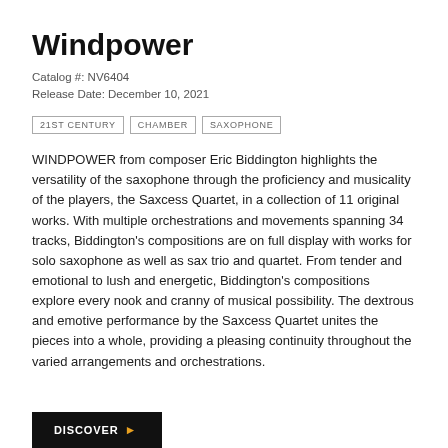Windpower
Catalog #: NV6404
Release Date: December 10, 2021
21ST CENTURY
CHAMBER
SAXOPHONE
WINDPOWER from composer Eric Biddington highlights the versatility of the saxophone through the proficiency and musicality of the players, the Saxcess Quartet, in a collection of 11 original works. With multiple orchestrations and movements spanning 34 tracks, Biddington’s compositions are on full display with works for solo saxophone as well as sax trio and quartet. From tender and emotional to lush and energetic, Biddington’s compositions explore every nook and cranny of musical possibility. The dextrous and emotive performance by the Saxcess Quartet unites the pieces into a whole, providing a pleasing continuity throughout the varied arrangements and orchestrations.
DISCOVER